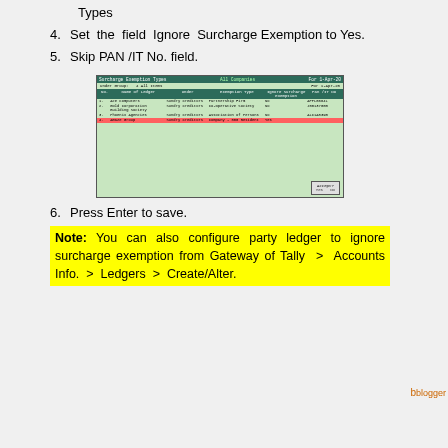Types
4. Set the field Ignore Surcharge Exemption to Yes.
5. Skip PAN /IT No. field.
[Figure (screenshot): Tally software screen showing Surcharge Exemption Types with ledger list including Ace Computers (Partnership Firm), Gold Corporation Building Society (Co-Operative Society), Phoenix Agencies (Association of Persons), and Amaze Group (Company - 500 Resident, Yes) highlighted in red. An Accept button is shown at the bottom right.]
6. Press Enter to save.
Note: You can also configure party ledger to ignore surcharge exemption from Gateway of Tally > Accounts Info. > Ledgers > Create/Alter.